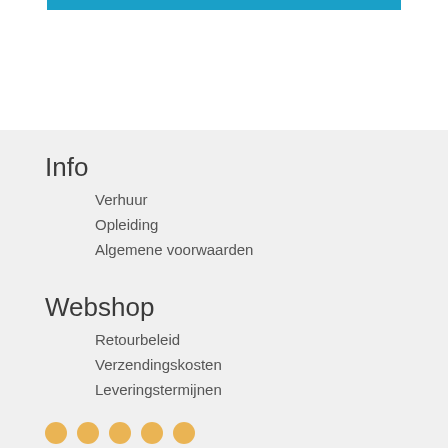Info
Verhuur
Opleiding
Algemene voorwaarden
Webshop
Retourbeleid
Verzendingskosten
Leveringstermijnen